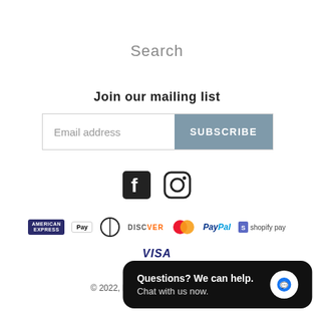Search
Join our mailing list
[Figure (screenshot): Email subscription form with 'Email address' placeholder input and 'SUBSCRIBE' button]
[Figure (infographic): Social media icons: Facebook and Instagram]
[Figure (infographic): Payment method icons: American Express, Apple Pay, Diners Club, Discover, Mastercard, PayPal, Shopify Pay, Visa]
© 2022, B... Shopify
[Figure (screenshot): Chat popup: 'Questions? We can help. Chat with us now.' with blue chat bubble icon]